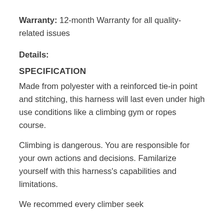Warranty: 12-month Warranty for all quality-related issues
Details:
SPECIFICATION
Made from polyester with a reinforced tie-in point and stitching, this harness will last even under high use conditions like a climbing gym or ropes course.
Climbing is dangerous. You are responsible for your own actions and decisions. Familarize yourself with this harness's capabilities and limitations.
We recommed every climber seek